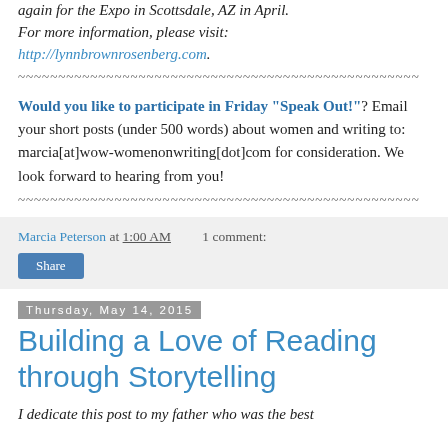again for the Expo in Scottsdale, AZ in April. For more information, please visit: http://lynnbrownrosenberg.com.
Would you like to participate in Friday "Speak Out!"? Email your short posts (under 500 words) about women and writing to: marcia[at]wow-womenonwriting[dot]com for consideration. We look forward to hearing from you!
Marcia Peterson at 1:00 AM   1 comment:
Share
Thursday, May 14, 2015
Building a Love of Reading through Storytelling
I dedicate this post to my father who was the best